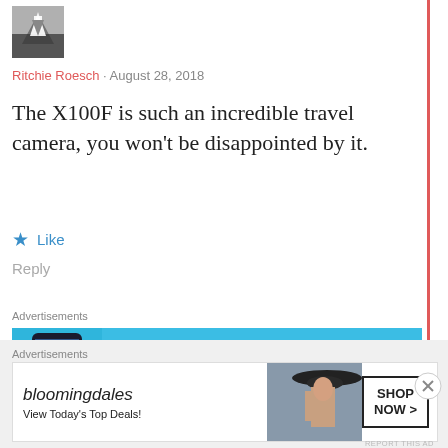[Figure (photo): Avatar/profile image thumbnail showing a road with an upward arrow overlay]
Ritchie Roesch · August 28, 2018
The X100F is such an incredible travel camera, you won't be disappointed by it.
★ Like
Reply
Advertisements
[Figure (screenshot): Day One app advertisement banner: blue background with phone mockup, text 'Your Journal for life', Day One logo]
REPORT THIS AD
Advertisements
[Figure (screenshot): Bloomingdale's advertisement: logo, 'View Today's Top Deals!', woman in hat, SHOP NOW > button]
REPORT THIS AD